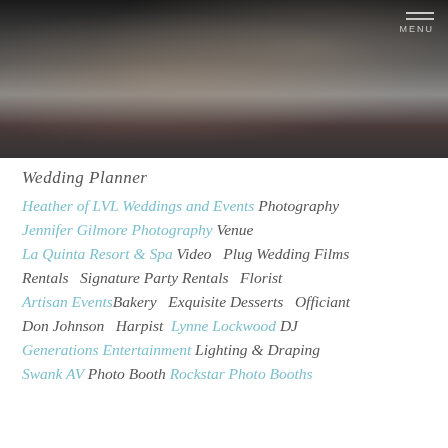[Figure (photo): A wedding reception photo showing people holding smartphones and cameras, figures in formal attire, dark background with warm lighting.]
Wedding Planner
Heather of LVL Weddings and Events Photography Jennifer Gilmore Photography Venue La Quinta Resort & Spa Video  Plug Wedding Films Rentals  Signature Party Rentals Florist Artisan EventsBakery  Exquisite Desserts Officiant Don Johnson  Harpist  Lynne Lockwood DJ Generations Entertainment Lighting & Draping Swank AV Photo Booth Rockstar Photo Booths